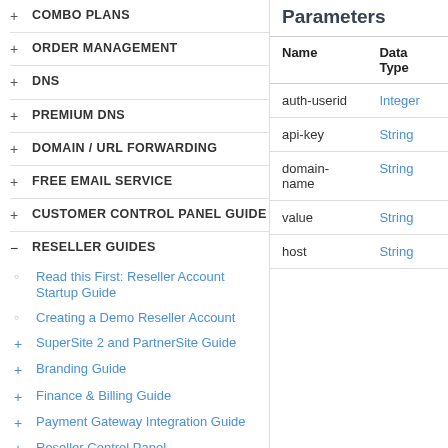+ COMBO PLANS
+ ORDER MANAGEMENT
+ DNS
+ PREMIUM DNS
+ DOMAIN / URL FORWARDING
+ FREE EMAIL SERVICE
+ CUSTOMER CONTROL PANEL GUIDE
- RESELLER GUIDES
○ Read this First: Reseller Account Startup Guide
○ Creating a Demo Reseller Account
+ SuperSite 2 and PartnerSite Guide
+ Branding Guide
+ Finance & Billing Guide
+ Payment Gateway Integration Guide
+ Reseller Control Panel
Parameters
| Name | Data Type |
| --- | --- |
| auth-userid | Integer |
| api-key | String |
| domain-name | String |
| value | String |
| host | String |